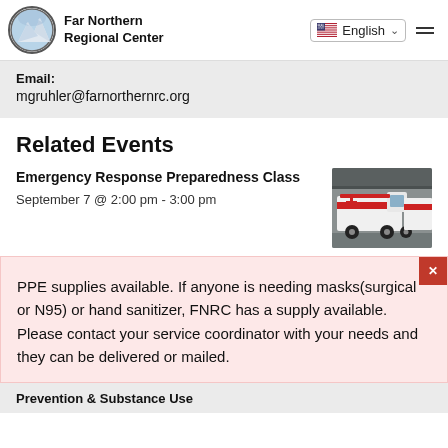Far Northern Regional Center | English
Email:
mgruhler@farnorthernrc.org
Related Events
Emergency Response Preparedness Class
September 7 @ 2:00 pm - 3:00 pm
[Figure (photo): Ambulance parked at a facility entrance, red and white emergency vehicle.]
PPE supplies available. If anyone is needing masks(surgical or N95) or hand sanitizer, FNRC has a supply available. Please contact your service coordinator with your needs and they can be delivered or mailed.
Prevention & Substance Use